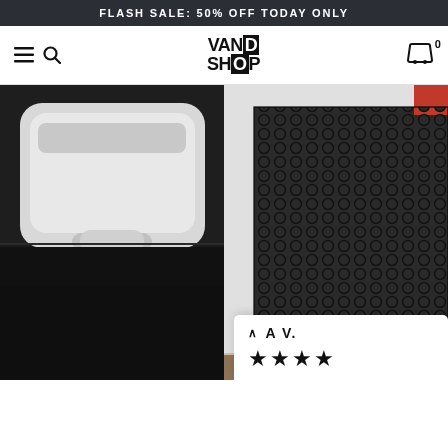FLASH SALE: 50% OFF TODAY ONLY
[Figure (screenshot): Navigation bar with hamburger menu, search icon, VAND SHOP logo, and cart icon with badge 0]
[Figure (photo): Two product photos side by side: left shows a white cat litter box with a dark mesh mat below it; right shows a close-up of a black honeycomb/hexagonal mesh cat litter mat being held]
A V.
[Figure (other): Four black star rating icons]